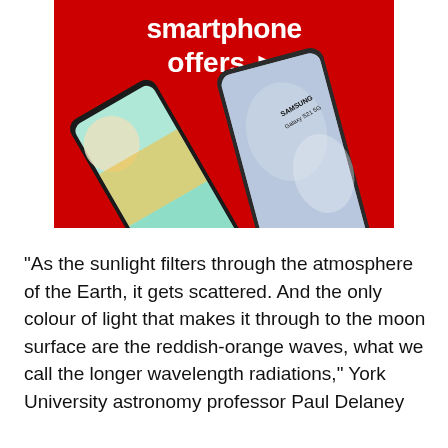[Figure (photo): Advertisement banner showing Samsung Galaxy S21 5G smartphones on a red background with text 'smartphone offers' and a arrow/play button]
"As the sunlight filters through the atmosphere of the Earth, it gets scattered. And the only colour of light that makes it through to the moon surface are the reddish-orange waves, what we call the longer wavelength radiations," York University astronomy professor Paul Delaney